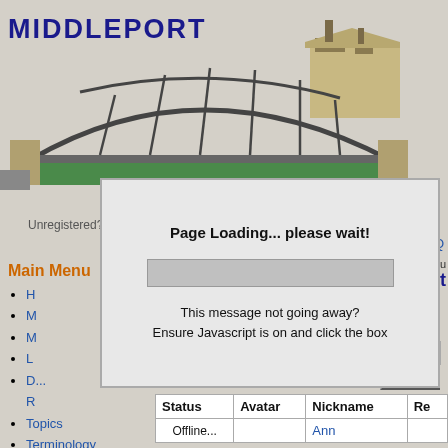[Figure (logo): Middleport CIG website logo with bridge illustration, showing 'MIDDLEPORT' and 'CIG' text in dark blue with a bridge/canal illustration]
Unregistered? Register for a user account.
Home :: Downloads :: Submit News :: Reviews :: FAQ
Main Menu
H...
M...
M...
L...
D... R...
Topics
Terminology
FAQ
Search
Share an Opinion
Most Popular Stories, Comments
[Figure (screenshot): Modal dialog box showing 'Page Loading... please wait!' with a grey progress bar and message 'This message not going away? Ensure Javascript is on and click the box']
[ Registered : 88 | Online : 0 | Newest U...
[ A | B | C | D | E | F | G | H | I | J | K | L |
| T | U | V | W | X | Y |
ers List
Search:
Nickname: (radio) Real Name: (radio) URL: (radio) Submit
| Status | Avatar | Nickname | Re... |
| --- | --- | --- | --- |
| Offline... |  | Ann |  |